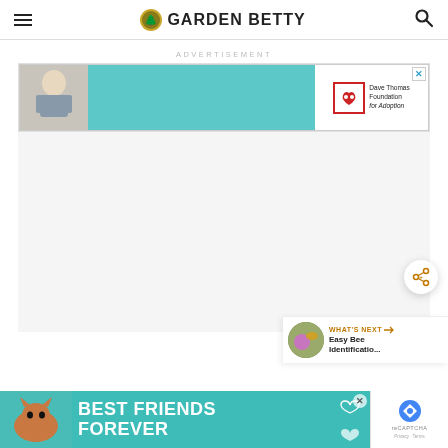GARDEN BETTY
ADVERTISEMENT
[Figure (screenshot): Advertisement banner: Dave Thomas Foundation for Adoption, featuring a boy on teal background]
[Figure (screenshot): Share button (circular button with share icon)]
[Figure (screenshot): What's Next bar: Easy Bee Identificatio... with bee on flower thumbnail]
[Figure (screenshot): Bottom advertisement banner: Best Friends Forever with cat image on teal background]
[Figure (screenshot): reCAPTCHA logo box at bottom right]